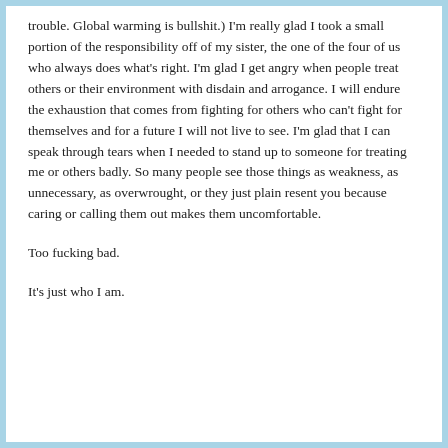trouble. Global warming is bullshit.) I'm really glad I took a small portion of the responsibility off of my sister, the one of the four of us who always does what's right. I'm glad I get angry when people treat others or their environment with disdain and arrogance. I will endure the exhaustion that comes from fighting for others who can't fight for themselves and for a future I will not live to see. I'm glad that I can speak through tears when I needed to stand up to someone for treating me or others badly. So many people see those things as weakness, as unnecessary, as overwrought, or they just plain resent you because caring or calling them out makes them uncomfortable.
Too fucking bad.
It's just who I am.